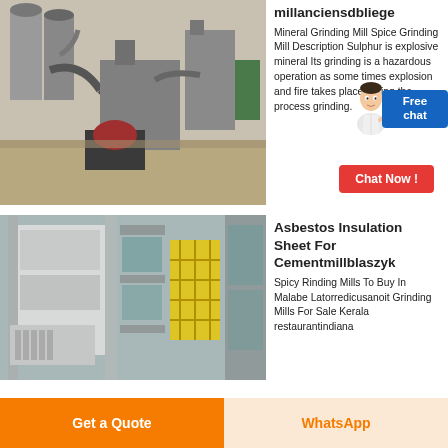[Figure (photo): Aerial/overhead view of an industrial mineral grinding mill facility with silos, pipes, and processing equipment outdoors]
millanciensdbliege
Mineral Grinding Mill Spice Grinding Mill Description Sulphur is explosive mineral Its grinding is a hazardous operation as some times explosion and fire takes place during the process grinding.
[Figure (photo): Industrial building interior/exterior view with large white panels, metal framework, and yellow safety barriers]
Asbestos Insulation Sheet For Cementmillblaszyk
Spicy Rinding Mills To Buy In Malabe Latorredicusanoit Grinding Mills For Sale Kerala restaurantindiana
Get a Quote
WhatsApp